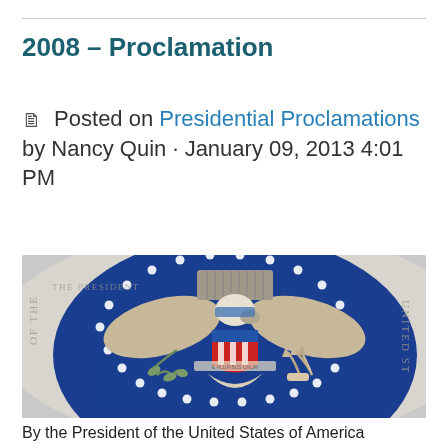2008 – Proclamation
Posted on Presidential Proclamations by Nancy Quin · January 09, 2013 4:01 PM
[Figure (photo): Photo of the Presidential Seal of the United States, showing a blue circular seal with an eagle holding an olive branch and arrows, red white and blue shield on its chest, surrounded by stars and text reading 'THE PRESIDENT OF THE UNITED STATES']
By the President of the United States of America